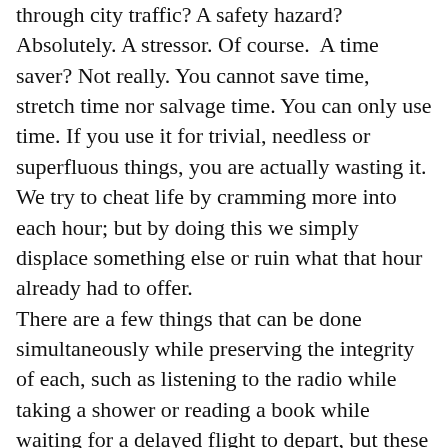commute to work or using a cell phone as we weave through city traffic? A safety hazard? Absolutely. A stressor. Of course.  A time saver? Not really. You cannot save time, stretch time nor salvage time. You can only use time. If you use it for trivial, needless or superfluous things, you are actually wasting it. We try to cheat life by cramming more into each hour; but by doing this we simply displace something else or ruin what that hour already had to offer.
There are a few things that can be done simultaneously while preserving the integrity of each, such as listening to the radio while taking a shower or reading a book while waiting for a delayed flight to depart, but these are few and far between. In general, what appear to be time savers are actually life wasters in disguise.
We are conditioned throughout our lives to hurry, be efficient, and not waste time. We are brainwashed by commercials that promote fast foods, speedy delivery and instant success. We are deluged with time-saving